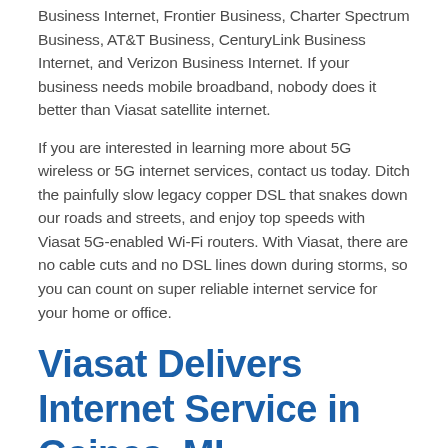Business Internet, Frontier Business, Charter Spectrum Business, AT&T Business, CenturyLink Business Internet, and Verizon Business Internet. If your business needs mobile broadband, nobody does it better than Viasat satellite internet.
If you are interested in learning more about 5G wireless or 5G internet services, contact us today. Ditch the painfully slow legacy copper DSL that snakes down our roads and streets, and enjoy top speeds with Viasat 5G-enabled Wi-Fi routers. With Viasat, there are no cable cuts and no DSL lines down during storms, so you can count on super reliable internet service for your home or office.
Viasat Delivers Internet Service in Gaines, MI
Do you live in a rural area of Gaines Michigan? Depending on how far out of town you are, it may not be obvious what